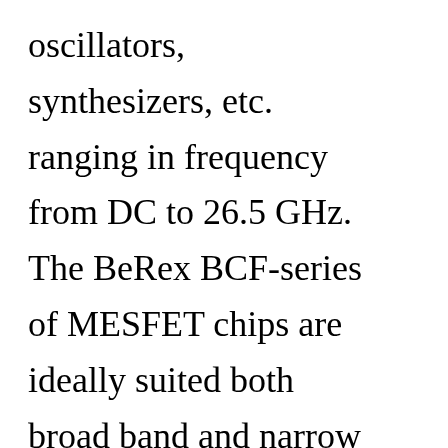oscillators, synthesizers, etc. ranging in frequency from DC to 26.5 GHz. The BeRex BCF-series of MESFET chips are ideally suited both broad band and narrow band applications from DC to 26.5 GHz. Typical application requires a high level of OIP3 linearity